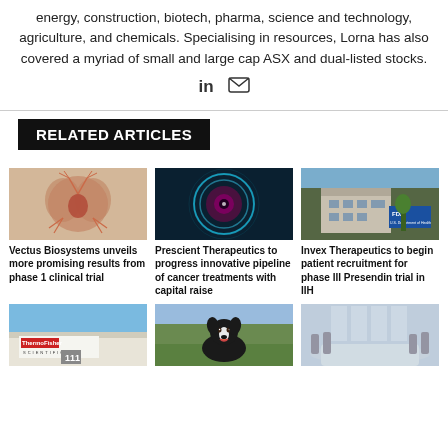energy, construction, biotech, pharma, science and technology, agriculture, and chemicals. Specialising in resources, Lorna has also covered a myriad of small and large cap ASX and dual-listed stocks.
[Figure (other): LinkedIn and email social icons]
RELATED ARTICLES
[Figure (photo): Medical illustration of human heart and lungs anatomy]
Vectus Biosystems unveils more promising results from phase 1 clinical trial
[Figure (photo): Microscopic cell image, teal/purple glowing sphere]
Prescient Therapeutics to progress innovative pipeline of cancer treatments with capital raise
[Figure (photo): FDA building exterior with sign]
Invex Therapeutics to begin patient recruitment for phase III Presendin trial in IIH
[Figure (photo): Thermo Fisher Scientific building exterior with sign and number 111]
[Figure (photo): Border collie dog in a field]
[Figure (photo): Empty modern conference room with reflective table]